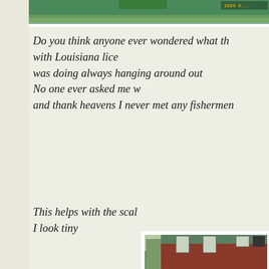[Figure (photo): Partial top photo showing water/nature scene, cropped at top of page]
Do you think anyone ever wondered what th
with Louisiana lice
was doing always hanging around out
No one ever asked me w
and thank heavens I never met any fishermen
This helps with the scal
I look tiny
[Figure (photo): Red brick building with sign reading GROVES MILL FLOUR FEED GRAIN]